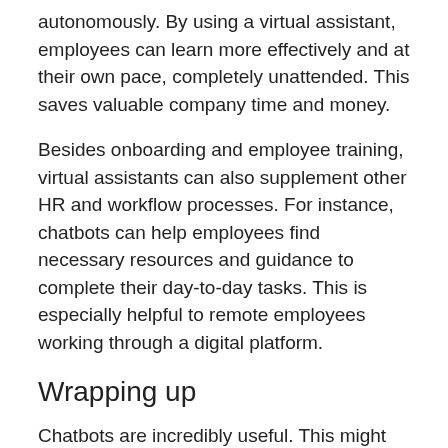autonomously. By using a virtual assistant, employees can learn more effectively and at their own pace, completely unattended. This saves valuable company time and money.
Besides onboarding and employee training, virtual assistants can also supplement other HR and workflow processes. For instance, chatbots can help employees find necessary resources and guidance to complete their day-to-day tasks. This is especially helpful to remote employees working through a digital platform.
Wrapping up
Chatbots are incredibly useful. This might be a simple statement, but it doesn't make it any less true, especially in today's fast-paced world. If you don't have a virtual assistant on your business website, app,